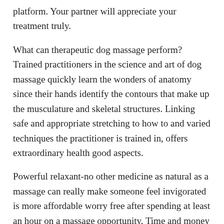platform. Your partner will appreciate your treatment truly.
What can therapeutic dog massage perform? Trained practitioners in the science and art of dog massage quickly learn the wonders of anatomy since their hands identify the contours that make up the musculature and skeletal structures. Linking safe and appropriate stretching to how to and varied techniques the practitioner is trained in, offers extraordinary health good aspects.
Powerful relaxant-no other medicine as natural as a massage can really make someone feel invigorated is more affordable worry free after spending at least an hour on a massage opportunity. Time and money well spent for certain.
山山山 can prevent hair loss just when you a certain herb with regard to saw palmetto. This will inhibit the hormone called DHT in order to destroy healthy hair follicle regions.